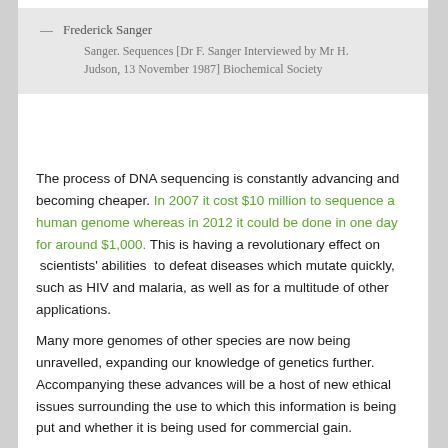— Frederick Sanger
Sanger. Sequences [Dr F. Sanger Interviewed by Mr H. Judson, 13 November 1987] Biochemical Society
The process of DNA sequencing is constantly advancing and becoming cheaper. In 2007 it cost $10 million to sequence a human genome whereas in 2012 it could be done in one day for around $1,000. This is having a revolutionary effect on  scientists' abilities  to defeat diseases which mutate quickly, such as HIV and malaria, as well as for a multitude of other applications.
Many more genomes of other species are now being unravelled, expanding our knowledge of genetics further. Accompanying these advances will be a host of new ethical issues surrounding the use to which this information is being put and whether it is being used for commercial gain.